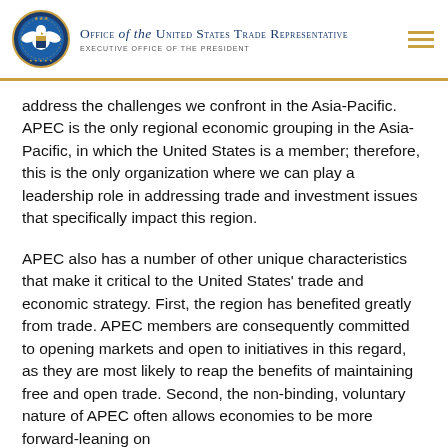Office of the United States Trade Representative — Executive Office of the President
address the challenges we confront in the Asia-Pacific. APEC is the only regional economic grouping in the Asia-Pacific, in which the United States is a member; therefore, this is the only organization where we can play a leadership role in addressing trade and investment issues that specifically impact this region.
APEC also has a number of other unique characteristics that make it critical to the United States' trade and economic strategy. First, the region has benefited greatly from trade. APEC members are consequently committed to opening markets and open to initiatives in this regard, as they are most likely to reap the benefits of maintaining free and open trade. Second, the non-binding, voluntary nature of APEC often allows economies to be more forward-leaning on